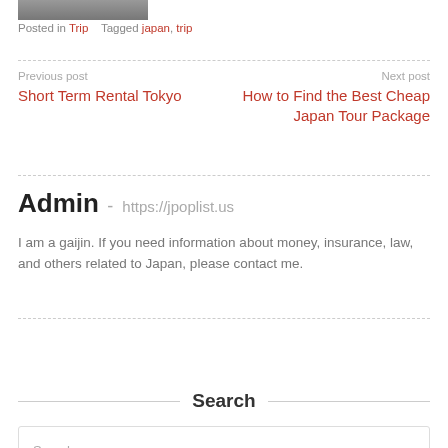[Figure (photo): Partial photo strip visible at top of page]
Posted in Trip   Tagged japan, trip
Previous post
Short Term Rental Tokyo
Next post
How to Find the Best Cheap Japan Tour Package
Admin - https://jpoplist.us
I am a gaijin. If you need information about money, insurance, law, and others related to Japan, please contact me.
Search
Search …